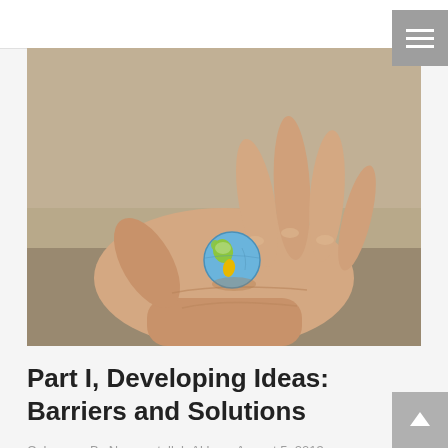[Figure (photo): A human hand held open with palm up, holding a small miniature globe ball with blue, green and yellow continents, against a beige/tan blurred background.]
Part I, Developing Ideas: Barriers and Solutions
Columns • By Neyamatullah Akbar • August 5, 2013 • 2 Comments